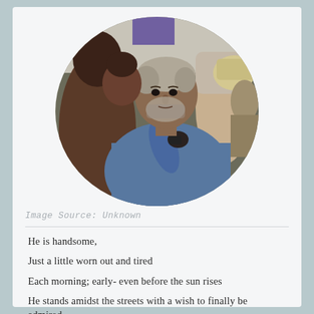[Figure (photo): An oval-cropped photograph of a middle-aged man with grey hair and a beard wearing a blue shirt, sitting in a crowd of people on a busy street.]
Image Source: Unknown
He is handsome,
Just a little worn out and tired
Each morning; early- even before the sun rises
He stands amidst the streets with a wish to finally be admired,